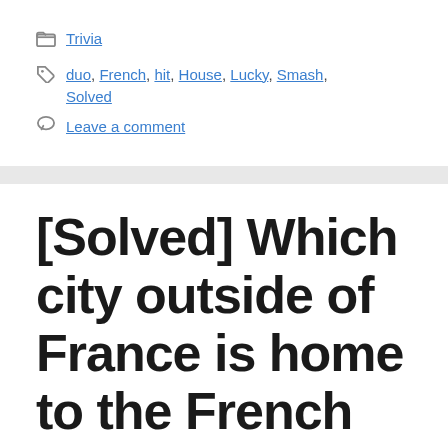📁 Trivia
🏷 duo, French, hit, House, Lucky, Smash, Solved
💬 Leave a comment
[Solved] Which city outside of France is home to the French Quarter?
June 25, 2022 by admin